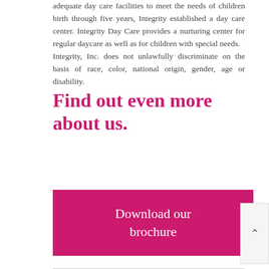adequate day care facilities to meet the needs of children birth through five years, Integrity established a day care center. Integrity Day Care provides a nurturing center for regular daycare as well as for children with special needs. Integrity, Inc. does not unlawfully discriminate on the basis of race, color, national origin, gender, age or disability.
Find out even more about us.
[Figure (other): Pink/magenta rectangular button with white text reading 'Download our brochure']